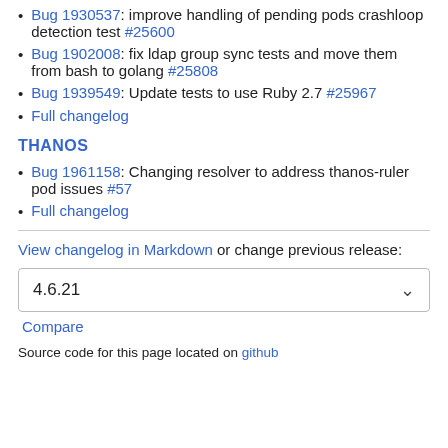Bug 1930537: improve handling of pending pods crashloop detection test #25600
Bug 1902008: fix ldap group sync tests and move them from bash to golang #25808
Bug 1939549: Update tests to use Ruby 2.7 #25967
Full changelog
THANOS
Bug 1961158: Changing resolver to address thanos-ruler pod issues #57
Full changelog
View changelog in Markdown or change previous release:
4.6.21
Compare
Source code for this page located on github